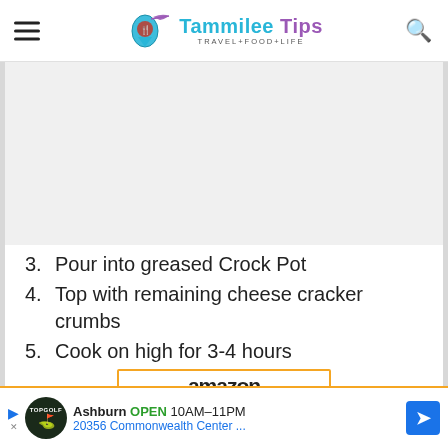Tammilee Tips - TRAVEL+FOOD+LIFE
[Figure (other): Gray placeholder advertising block]
3. Pour into greased Crock Pot
4. Top with remaining cheese cracker crumbs
5. Cook on high for 3-4 hours
[Figure (logo): Amazon logo partially visible at bottom of content area]
[Figure (other): TopGolf advertisement banner: Ashburn OPEN 10AM-11PM, 20356 Commonwealth Center...]